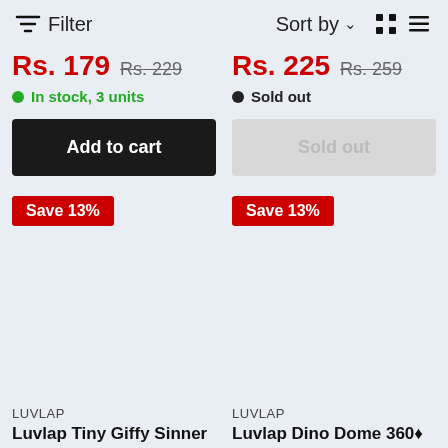Filter   Sort by   [grid icons]
Rs. 179  Rs. 229
Rs. 225  Rs. 259
In stock, 3 units
Sold out
Add to cart
Sold out
Save 13%
Save 13%
LUVLAP
LUVLAP
Luvlap Tiny Giffy Sinner /
Luvlap Dino Dome 360